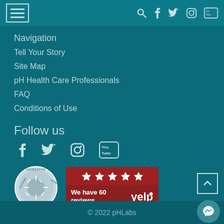Navigation header bar with hamburger menu and social icons
Navigation
Tell Your Story
Site Map
pH Health Care Professionals
FAQ
Conditions of Use
Follow us
[Figure (infographic): Social media icons: Facebook, Twitter, Instagram, YouTube]
[Figure (logo): GuideStar Platinum Transparency 2021 badge]
[Figure (infographic): Yelp badge showing 5 stars and We have 60 reviews]
© 2022 pHLabs